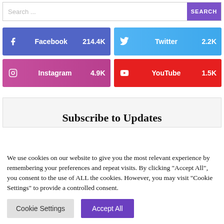Search ...
SEARCH
Facebook 214.4K
Twitter 2.2K
Instagram 4.9K
YouTube 1.5K
Subscribe to Updates
We use cookies on our website to give you the most relevant experience by remembering your preferences and repeat visits. By clicking "Accept All", you consent to the use of ALL the cookies. However, you may visit "Cookie Settings" to provide a controlled consent.
Cookie Settings
Accept All